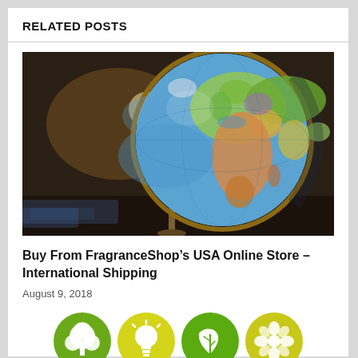RELATED POSTS
[Figure (photo): A colorful world globe on a stand, photographed on a dark wooden table with blurred background lights.]
Buy From FragranceShop’s USA Online Store – International Shipping
August 9, 2018
[Figure (illustration): Four circular green/yellow icons at the bottom: a tree/plant icon, a lightbulb icon, a leaf icon, and a recycling/flower icon.]